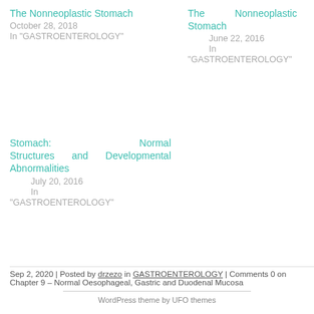The Nonneoplastic Stomach
October 28, 2018
In "GASTROENTEROLOGY"
The Nonneoplastic Stomach
June 22, 2016
In "GASTROENTEROLOGY"
Stomach: Normal Structures and Developmental Abnormalities
July 20, 2016
In "GASTROENTEROLOGY"
Sep 2, 2020 | Posted by drzezo in GASTROENTEROLOGY | Comments 0 on Chapter 9 – Normal Oesophageal, Gastric and Duodenal Mucosa
WordPress theme by UFO themes